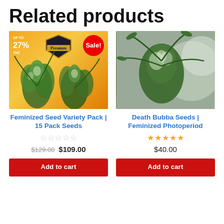Related products
[Figure (photo): Cannabis plants with orange/yellow background, Premium shield badge, UP TO 27% THC text, Sale! badge in red circle]
Feminized Seed Variety Pack | 15 Pack Seeds
☆☆☆☆☆ (empty stars)
$129.00 $109.00
Add to cart
[Figure (photo): Close-up macro photo of cannabis bud with blurred grey background]
Death Bubba Seeds | Feminized Photoperiod
★★★★★ (5 filled stars)
$40.00
Add to cart